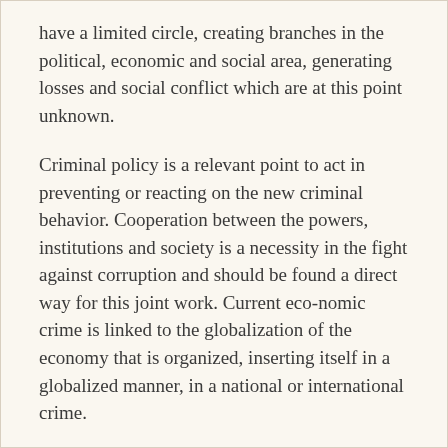have a limited circle, creating branches in the political, economic and social area, generating losses and social conflict which are at this point unknown.
Criminal policy is a relevant point to act in preventing or reacting on the new criminal behavior. Cooperation between the powers, institutions and society is a necessity in the fight against corruption and should be found a direct way for this joint work. Current eco-nomic crime is linked to the globalization of the economy that is organized, inserting itself in a globalized manner, in a national or international crime.
The State should have a more direct approach and establish limits to certain behaviors of public agents, especially in the economic area. There must be an effective disapproval regarding the conduct of public sector employees who manage contracts, jobs or services, aiming for the economic crime prevention.